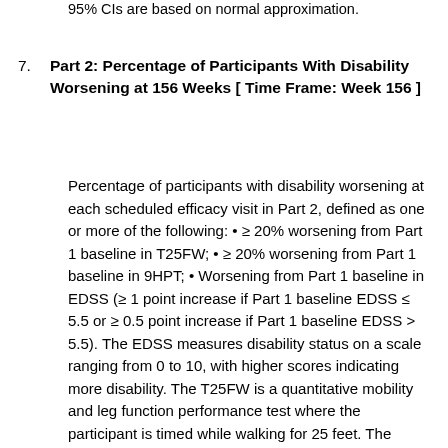95% CIs are based on normal approximation.
7. Part 2: Percentage of Participants With Disability Worsening at 156 Weeks [ Time Frame: Week 156 ]
Percentage of participants with disability worsening at each scheduled efficacy visit in Part 2, defined as one or more of the following: • ≥ 20% worsening from Part 1 baseline in T25FW; • ≥ 20% worsening from Part 1 baseline in 9HPT; • Worsening from Part 1 baseline in EDSS (≥ 1 point increase if Part 1 baseline EDSS ≤ 5.5 or ≥ 0.5 point increase if Part 1 baseline EDSS > 5.5). The EDSS measures disability status on a scale ranging from 0 to 10, with higher scores indicating more disability. The T25FW is a quantitative mobility and leg function performance test where the participant is timed while walking for 25 feet. The 9HPT is a quantitative test of upper extremity function that measures the time it takes to place 9 pegs into 9 holes and then remove the